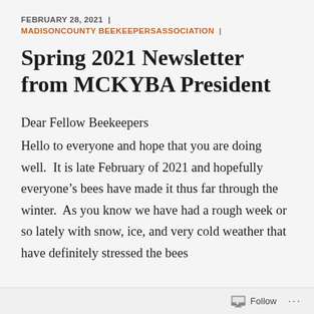FEBRUARY 28, 2021  |
MADISONCOUNTY BEEKEEPERSASSOCIATION  |
Spring 2021 Newsletter from MCKYBA President
Dear Fellow Beekeepers
Hello to everyone and hope that you are doing well.  It is late February of 2021 and hopefully everyone's bees have made it thus far through the winter.  As you know we have had a rough week or so lately with snow, ice, and very cold weather that have definitely stressed the bees